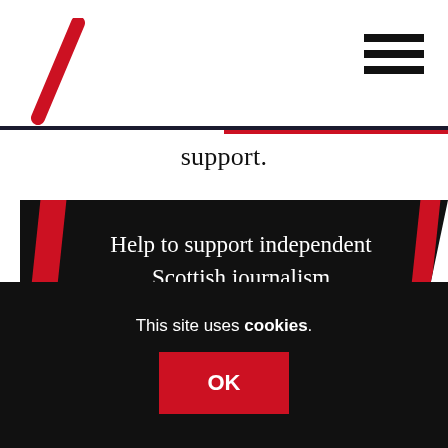support.
Help to support independent Scottish journalism
SUBSCRIBE
DONATE
[Figure (photo): Circular portrait photo of a person, partially visible at bottom of page]
This site uses cookies.
OK